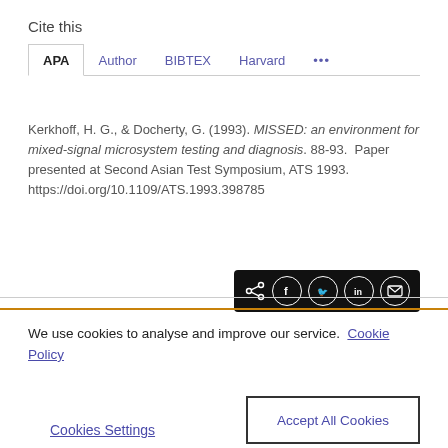Cite this
APA | Author | BIBTEX | Harvard | ...
Kerkhoff, H. G., & Docherty, G. (1993). MISSED: an environment for mixed-signal microsystem testing and diagnosis. 88-93. Paper presented at Second Asian Test Symposium, ATS 1993. https://doi.org/10.1109/ATS.1993.398785
[Figure (infographic): Social share buttons bar (share, Facebook, Twitter, LinkedIn, email icons) on black background]
We use cookies to analyse and improve our service. Cookie Policy
Cookies Settings
Accept All Cookies